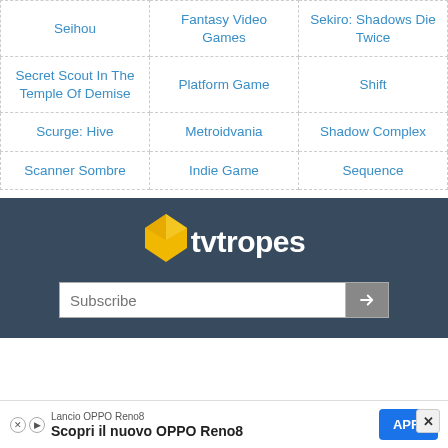| Seihou | Fantasy Video Games | Sekiro: Shadows Die Twice |
| Secret Scout In The Temple Of Demise | Platform Game | Shift |
| Scurge: Hive | Metroidvania | Shadow Complex |
| Scanner Sombre | Indie Game | Sequence |
[Figure (logo): TV Tropes logo with yellow diamond/gem shape and white text 'tvtropes' on dark blue-grey background]
Subscribe
[Figure (infographic): Advertisement banner: 'Lancio OPPO Reno8 / Scopri il nuovo OPPO Reno8' with blue APRI button]